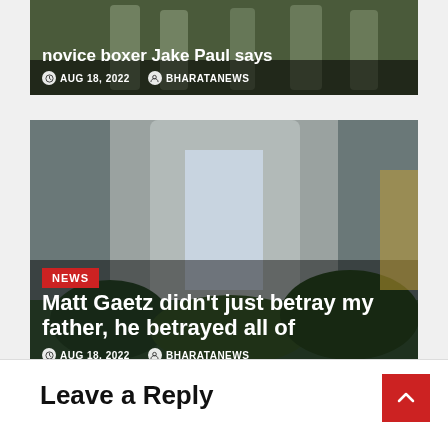[Figure (photo): Top article card partially visible, dark background with sports image, showing title 'novice boxer Jake Paul says', date AUG 18, 2022, author BHARATANEWS]
novice boxer Jake Paul says
AUG 18, 2022  BHARATANEWS
[Figure (photo): Second article card with photo of man in gray suit with plants, NEWS badge overlay, title 'Matt Gaetz didn't just betray my father, he betrayed all of', date AUG 18, 2022, author BHARATANEWS]
Matt Gaetz didn't just betray my father, he betrayed all of
AUG 18, 2022  BHARATANEWS
Leave a Reply